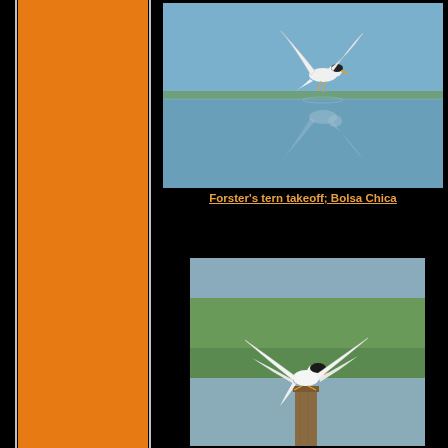[Figure (photo): A Forster's tern in mid-takeoff over calm blue water, wings spread upward, with reflection visible below, at Bolsa Chica]
Forster's tern takeoff; Bolsa Chica
[Figure (photo): A Forster's tern landing on a wooden post with wings fully spread, green vegetation in the background]